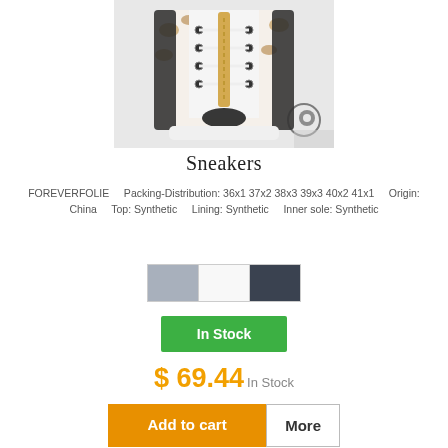[Figure (photo): Close-up photo of sneakers showing laces and zipper detail with leopard print, white leather, and a brand logo watermark in the corner]
Sneakers
FOREVERFOLIE    Packing-Distribution: 36x1 37x2 38x3 39x3 40x2 41x1    Origin: China    Top: Synthetic    Lining: Synthetic    Inner sole: Synthetic
[Figure (other): Three color swatches: gray, white, dark gray/navy]
In Stock
$ 69.44 In Stock
Add to cart    More